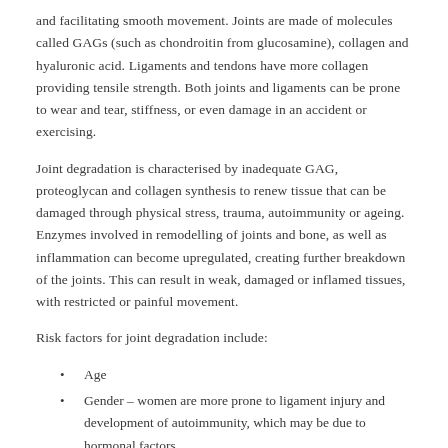and facilitating smooth movement. Joints are made of molecules called GAGs (such as chondroitin from glucosamine), collagen and hyaluronic acid. Ligaments and tendons have more collagen providing tensile strength. Both joints and ligaments can be prone to wear and tear, stiffness, or even damage in an accident or exercising.
Joint degradation is characterised by inadequate GAG, proteoglycan and collagen synthesis to renew tissue that can be damaged through physical stress, trauma, autoimmunity or ageing. Enzymes involved in remodelling of joints and bone, as well as inflammation can become upregulated, creating further breakdown of the joints. This can result in weak, damaged or inflamed tissues, with restricted or painful movement.
Risk factors for joint degradation include:
Age
Gender – women are more prone to ligament injury and development of autoimmunity, which may be due to hormonal factors.
Joint injuries
Prolonged usage/excessive exercise
Disease